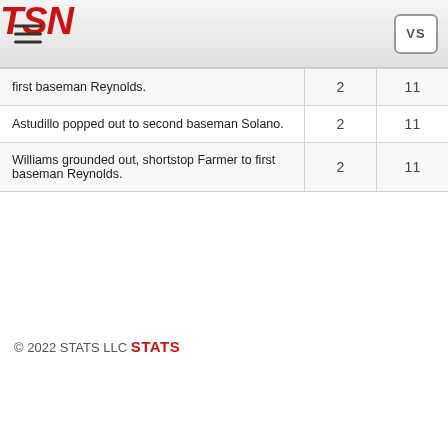TSN VS
| Description |  |  |
| --- | --- | --- |
| first baseman Reynolds. | 2 | 11 |
| Astudillo popped out to second baseman Solano. | 2 | 11 |
| Williams grounded out, shortstop Farmer to first baseman Reynolds. | 2 | 11 |
© 2022 STATS LLC STATS